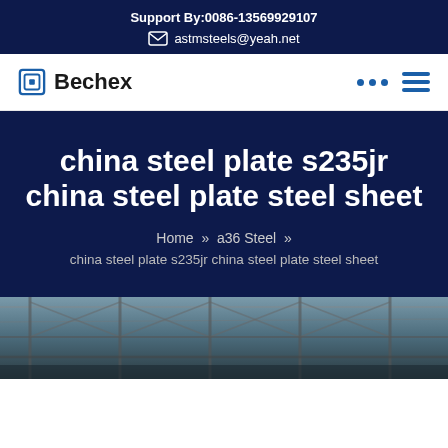Support By:0086-13569929107
astmsteels@yeah.net
Bechex
china steel plate s235jr china steel plate steel sheet
Home » a36 Steel » china steel plate s235jr china steel plate steel sheet
[Figure (photo): Steel structure / industrial facility interior with roof trusses, photographed from below]